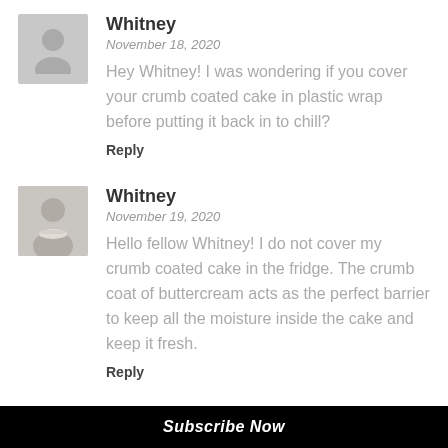[Figure (illustration): Gray placeholder avatar silhouette for commenter Whitney (first)]
Whitney
November 18, 2020
Hey Whitney! I was wondering if you cover your crumb coated cake in plastic wrap before putting it back in to chill?
Reply
[Figure (photo): Photo of Whitney, a woman, used as commenter avatar]
Whitney
November 19, 2020
Hello fellow Whitney! I do not cover my crumb coated cake in the fridge. The crumb coat of buttercream acts as the perfect barrier to keep all the moisture inside the cake and keep it fresh.
Reply
[Figure (illustration): Gray placeholder avatar silhouette for commenter Malia]
Malia
November 26, 2020
Subscribe Now